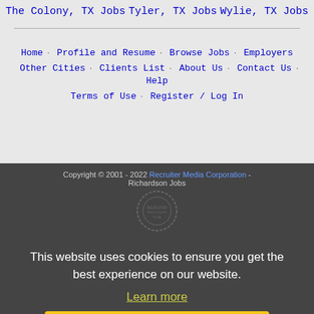The Colony, TX Jobs
Tyler, TX Jobs
Wylie, TX Jobs
Home · Profile and Resume · Browse Jobs · Employers · Other Cities · Clients List · About Us · Contact Us · Help · Terms of Use · Register / Log In
Copyright © 2001 - 2022 Recruiter Media Corporation - Richardson Jobs
This website uses cookies to ensure you get the best experience on our website. Learn more Got it!